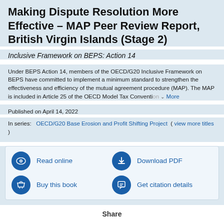Making Dispute Resolution More Effective – MAP Peer Review Report, British Virgin Islands (Stage 2)
Inclusive Framework on BEPS: Action 14
Under BEPS Action 14, members of the OECD/G20 Inclusive Framework on BEPS have committed to implement a minimum standard to strengthen the effectiveness and efficiency of the mutual agreement procedure (MAP). The MAP is included in Article 25 of the OECD Model Tax Convention… More
Published on April 14, 2022
In series: OECD/G20 Base Erosion and Profit Shifting Project ( view more titles )
Read online
Download PDF
Buy this book
Get citation details
Share